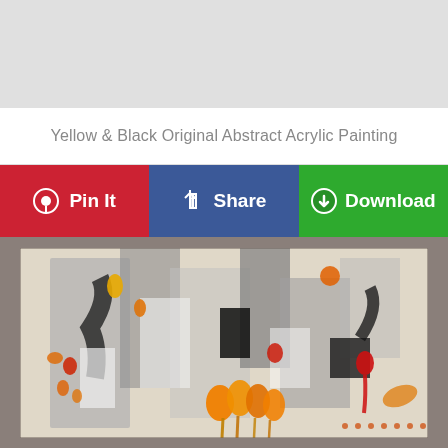Yellow & Black Original Abstract Acrylic Painting
Pin It
Share
Download
[Figure (photo): Abstract acrylic painting featuring yellow, orange, red, black, and white brushstrokes and drips on canvas, framed in gray/brown]